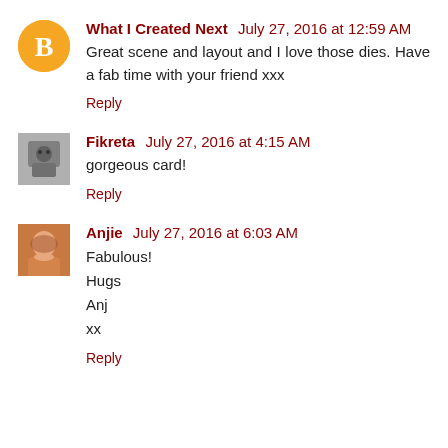What I Created Next  July 27, 2016 at 12:59 AM
Great scene and layout and I love those dies. Have a fab time with your friend xxx
Reply
Fikreta  July 27, 2016 at 4:15 AM
gorgeous card!
Reply
Anjie  July 27, 2016 at 6:03 AM
Fabulous!
Hugs
Anj
xx
Reply